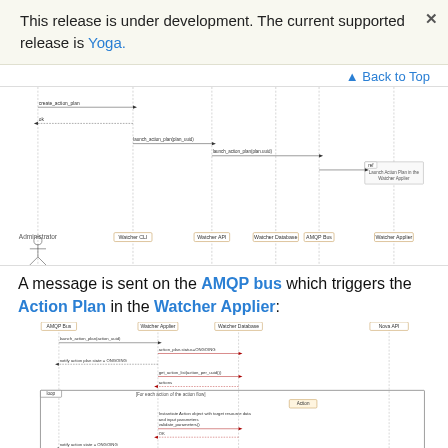This release is under development. The current supported release is Yoga.
Back to Top
[Figure (engineering-diagram): UML sequence diagram showing interaction between Administrator, Watcher CLI, Watcher API, Watcher Database, AMQP Bus, and Watcher Applier, with messages including launch_action_plan and ref Launch Action Plan in the Watcher Applier]
A message is sent on the AMQP bus which triggers the Action Plan in the Watcher Applier:
[Figure (engineering-diagram): UML sequence diagram showing AMQP Bus, Watcher Applier, Watcher Database, Nova API interactions with messages: launch_action_plan, action_plan.status=ONGOING, notify action plan state=ONGOING, get_action_list, actions, loop for each action, instantiate Action, validate_parameters, OK, notify action state=ONGOING, preprocessed, ok, execute, alt if action is migrate_instance, nova.liveratings, ok, alt if action is disable_hypervisor, host.update set maintenance=true]